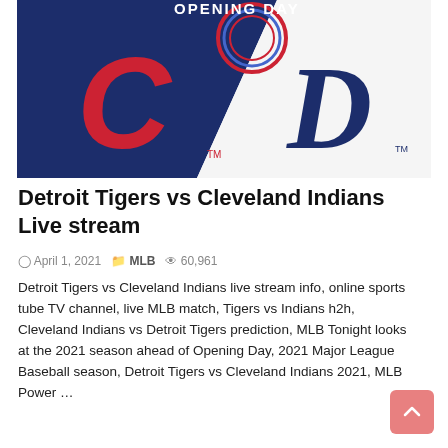[Figure (illustration): Opening Day graphic showing Cleveland Indians C logo on navy background (left) and Detroit Tigers D logo on white background (right), with Opening Day circular badge at top center]
Detroit Tigers vs Cleveland Indians Live stream
April 1, 2021  MLB  60,961
Detroit Tigers vs Cleveland Indians live stream info, online sports tube TV channel, live MLB match, Tigers vs Indians h2h, Cleveland Indians vs Detroit Tigers prediction, MLB Tonight looks at the 2021 season ahead of Opening Day, 2021 Major League Baseball season, Detroit Tigers vs Cleveland Indians 2021, MLB Power ...